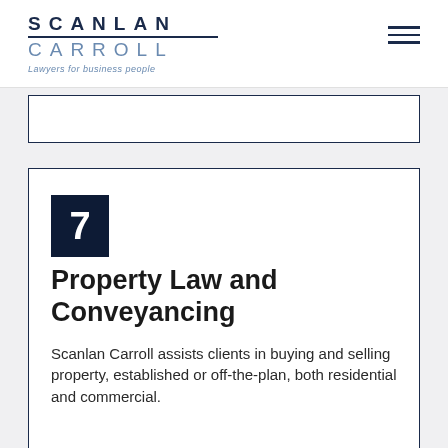SCANLAN CARROLL — Lawyers for business people
7
Property Law and Conveyancing
Scanlan Carroll assists clients in buying and selling property, established or off-the-plan, both residential and commercial.